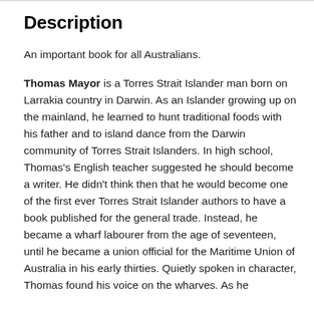Description
An important book for all Australians.
Thomas Mayor is a Torres Strait Islander man born on Larrakia country in Darwin. As an Islander growing up on the mainland, he learned to hunt traditional foods with his father and to island dance from the Darwin community of Torres Strait Islanders. In high school, Thomas's English teacher suggested he should become a writer. He didn't think then that he would become one of the first ever Torres Strait Islander authors to have a book published for the general trade. Instead, he became a wharf labourer from the age of seventeen, until he became a union official for the Maritime Union of Australia in his early thirties. Quietly spoken in character, Thomas found his voice on the wharves. As he